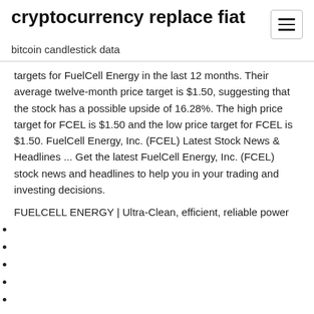cryptocurrency replace fiat
bitcoin candlestick data
targets for FuelCell Energy in the last 12 months. Their average twelve-month price target is $1.50, suggesting that the stock has a possible upside of 16.28%. The high price target for FCEL is $1.50 and the low price target for FCEL is $1.50. FuelCell Energy, Inc. (FCEL) Latest Stock News & Headlines ... Get the latest FuelCell Energy, Inc. (FCEL) stock news and headlines to help you in your trading and investing decisions.
FUELCELL ENERGY | Ultra-Clean, efficient, reliable power